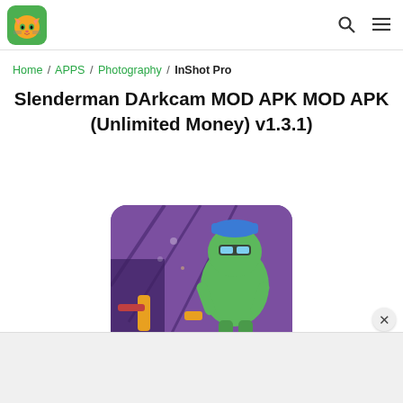InShot Pro — Home / APPS / Photography / InShot Pro
Home / APPS / Photography / InShot Pro
Slenderman DArkcam MOD APK MOD APK (Unlimited Money) v1.3.1)
[Figure (screenshot): Game screenshot showing a green cartoon dinosaur/alien character in a purple room scene with weapons, game UI overlay]